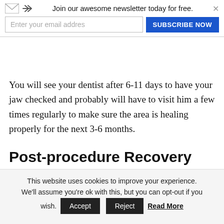[Figure (other): Newsletter subscription banner with envelope icon, arrow icon, email input field, SUBSCRIBE NOW button, and close X. Title reads: Join our awesome newsletter today for free.]
You will see your dentist after 6-11 days to have your jaw checked and probably will have to visit him a few times regularly to make sure the area is healing properly for the next 3-6 months.
Post-procedure Recovery and Care
The first 24 to 48 hours after the dental bone
This website uses cookies to improve your experience. We'll assume you're ok with this, but you can opt-out if you wish. Accept Reject Read More